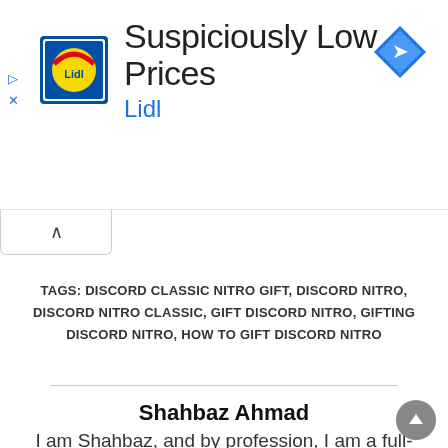[Figure (screenshot): Lidl advertisement banner with Lidl logo, title 'Suspiciously Low Prices', subtitle 'Lidl', navigation icon top right, and ad control icons on left]
TAGS: DISCORD CLASSIC NITRO GIFT, DISCORD NITRO, DISCORD NITRO CLASSIC, GIFT DISCORD NITRO, GIFTING DISCORD NITRO, HOW TO GIFT DISCORD NITRO
Shahbaz Ahmad
I am Shahbaz, and by profession, I am a full-time Blogger and a YouTuber. I have done a master's in M.B.A and I love playing online